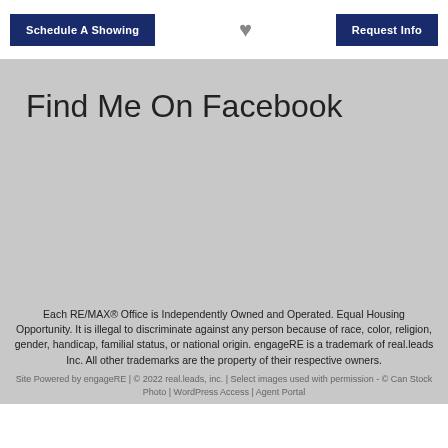Schedule A Showing | [heart icon] | Request Info
Find Me On Facebook
Each RE/MAX® Office is Independently Owned and Operated. Equal Housing Opportunity. It is illegal to discriminate against any person because of race, color, religion, gender, handicap, familial status, or national origin. engageRE is a trademark of real.leads Inc. All other trademarks are the property of their respective owners.
Site Powered by engageRE | © 2022 real.leads, inc. | Select images used with permission - © Can Stock Photo | WordPress Access | Agent Portal